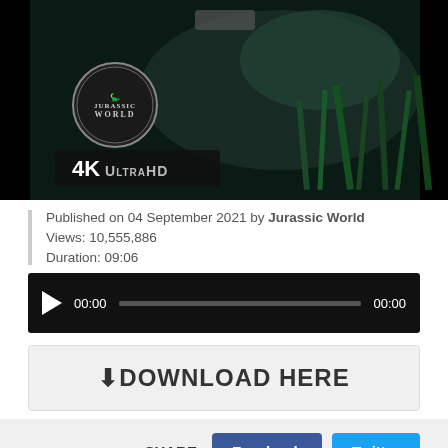[Figure (screenshot): Jurassic World 4K Ultra HD video thumbnail showing dinosaur scene with Jurassic World logo and 4K UltraHD badge on black background]
Published on 04 September 2021 by Jurassic World
Views: 10,555,886
Duration: 09:06
[Figure (screenshot): Video player bar with play button, time 00:00, progress bar, and end time 00:00 on black background]
DOWNLOAD HERE
SHARE: Facebook Twitter
[Figure (screenshot): Red Download Now! button with white downward arrow on red background]